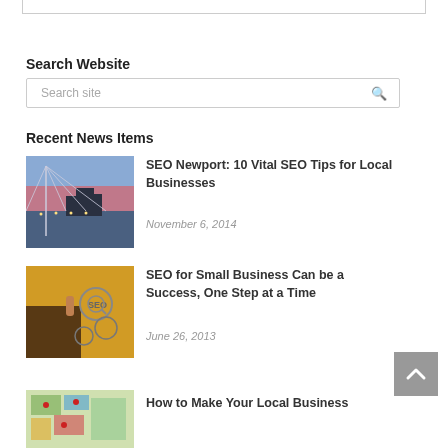Search Website
Search site
Recent News Items
[Figure (photo): City bridge at dusk with cable-stayed architecture and urban skyline in background]
SEO Newport: 10 Vital SEO Tips for Local Businesses
November 6, 2014
[Figure (photo): Person pointing at digital SEO icons and gears on a yellow-tinted background]
SEO for Small Business Can be a Success, One Step at a Time
June 26, 2013
[Figure (photo): Colorful local business map or infographic thumbnail]
How to Make Your Local Business